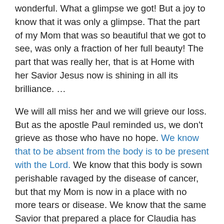wonderful. What a glimpse we got! But a joy to know that it was only a glimpse. That the part of my Mom that was so beautiful that we got to see, was only a fraction of her full beauty! The part that was really her, that is at Home with her Savior Jesus now is shining in all its brilliance. …
We will all miss her and we will grieve our loss. But as the apostle Paul reminded us, we don't grieve as those who have no hope. We know that to be absent from the body is to be present with the Lord. We know that this body is sown perishable ravaged by the disease of cancer, but that my Mom is now in a place with no more tears or disease. We know that the same Savior that prepared a place for Claudia has prepared a place for us.